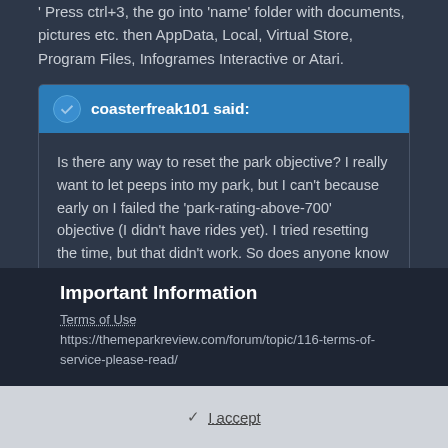' Press ctrl+3, the go into 'name' folder with documents, pictures etc. then AppData, Local, Virtual Store, Program Files, Infogrames Interactive or Atari.
coasterfreak101 said: Is there any way to reset the park objective? I really want to let peeps into my park, but I can't because early on I failed the 'park-rating-above-700' objective (I didn't have rides yet). I tried resetting the time, but that didn't work. So does anyone know any way to do it?
You can use 8 cars and go into "park" then "open/close" park.
Important Information
Terms of Use https://themeparkreview.com/forum/topic/116-terms-of-service-please-read/
✓ I accept